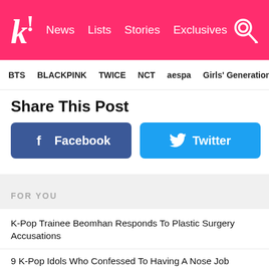K! News Lists Stories Exclusives
BTS  BLACKPINK  TWICE  NCT  aespa  Girls' Generation
Share This Post
[Figure (infographic): Facebook share button (blue) and Twitter share button (light blue)]
FOR YOU
K-Pop Trainee Beomhan Responds To Plastic Surgery Accusations
9 K-Pop Idols Who Confessed To Having A Nose Job
Korean Plastic Surgeons Analyzed The Visual Points Of